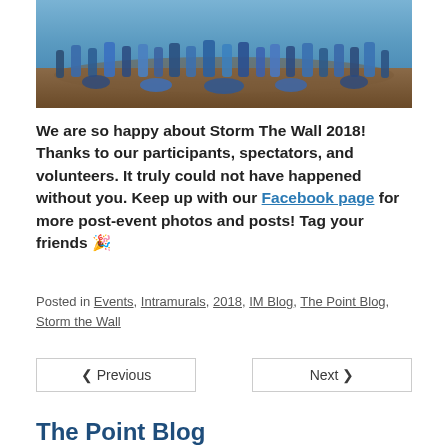[Figure (photo): Group photo of participants in blue shirts at Storm The Wall 2018 event, sitting and standing outdoors on dirt ground.]
We are so happy about Storm The Wall 2018! Thanks to our participants, spectators, and volunteers. It truly could not have happened without you. Keep up with our Facebook page for more post-event photos and posts! Tag your friends 🎉
Posted in Events, Intramurals, 2018, IM Blog, The Point Blog, Storm the Wall
< Previous
Next >
The Point Blog
Faces of UBC Recreation